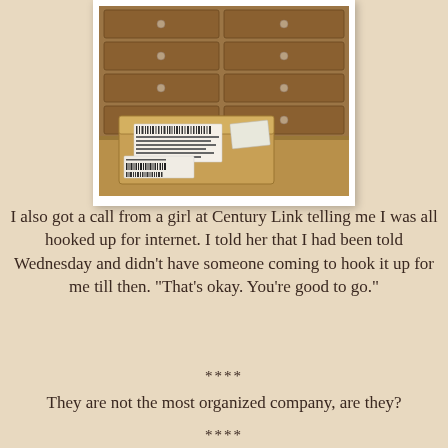[Figure (photo): A brown cardboard shipping box sitting on a wooden surface in front of a wooden drawer cabinet with multiple drawers and small round knobs. The box has shipping labels and barcodes on it.]
I also got a call from a girl at Century Link telling me I was all hooked up for internet.  I told her that I had been told Wednesday and didn't have someone coming to hook it up for me till then.  "That's okay.  You're good to go."
****
They are not the most organized company, are they?
****